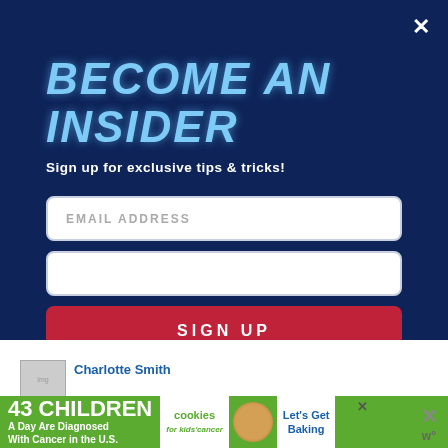BECOME AN INSIDER
Sign up for exclusive tips & tricks!
EMAIL ADDRESS
SIGN UP
Charlotte Smith
[Figure (infographic): Advertisement banner: '43 CHILDREN A Day Are Diagnosed With Cancer in the U.S.' with cookies for kids' cancer logo and 'Let's Get Baking' call to action]